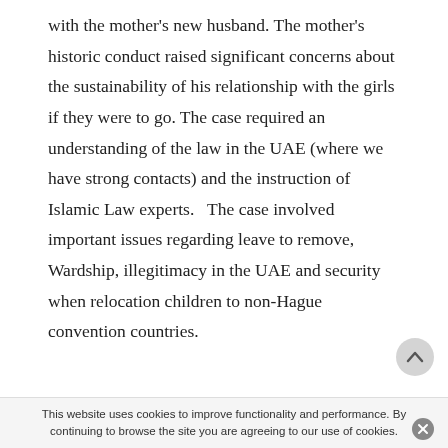with the mother's new husband. The mother's historic conduct raised significant concerns about the sustainability of his relationship with the girls if they were to go. The case required an understanding of the law in the UAE (where we have strong contacts) and the instruction of Islamic Law experts.   The case involved important issues regarding leave to remove, Wardship, illegitimacy in the UAE and security when relocation children to non-Hague convention countries.
This website uses cookies to improve functionality and performance. By continuing to browse the site you are agreeing to our use of cookies.